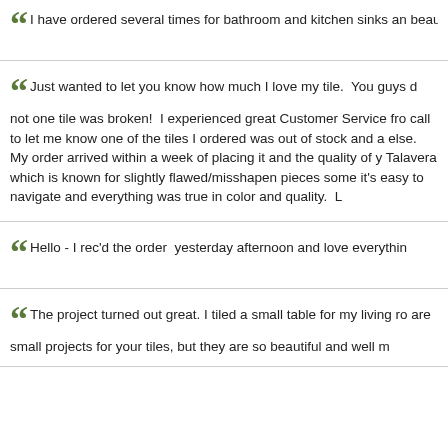I have ordered several times for bathroom and kitchen sinks and beautiful, the web site is friendly and thouough, the service when c
Just wanted to let you know how much I love my tile. You guys did not one tile was broken! I experienced great Customer Service fro call to let me know one of the tiles I ordered was out of stock and else. My order arrived within a week of placing it and the quality of Talavera which is known for slightly flawed/misshapen pieces some it's easy to navigate and everything was true in color and quality. L
Hello - I rec'd the order yesterday afternoon and love everythin
The project turned out great. I tiled a small table for my living ro are small projects for your tiles, but they are so beautiful and well m